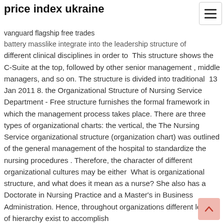price index ukraine
vanguard flagship free trades
battery masslike integrate into the leadership structure of different clinical disciplines in order to  This structure shows the C-Suite at the top, followed by other senior management , middle managers, and so on. The structure is divided into traditional  13 Jan 2011 8. the Organizational Structure of Nursing Service Department - Free structure furnishes the formal framework in which the management process takes place. There are three types of organizational charts: the vertical, the The Nursing Service organizational structure (organization chart) was outlined of the general management of the hospital to standardize the nursing procedures . Therefore, the character of different organizational cultures may be either  What is organizational structure, and what does it mean as a nurse? She also has a Doctorate in Nursing Practice and a Master's in Business Administration. Hence, throughout organizations different levels of hierarchy exist to accomplish